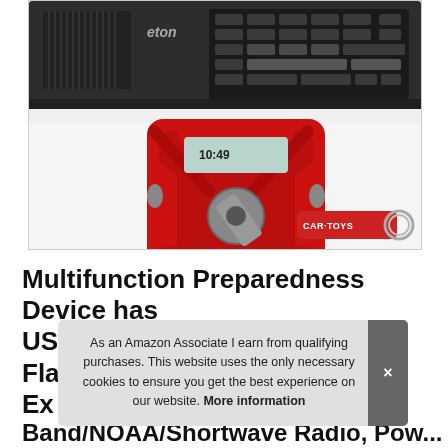[Figure (photo): Two Eton brand emergency radios: a black tabletop AM/FM weather radio on top, and a red compact emergency hand-crank radio (American Red Cross branded) in the center. A red Car-Toys branded bottle opener keychain is visible in the lower right.]
Multifunction Preparedness Device has USB Flashlight External Battery...
As an Amazon Associate I earn from qualifying purchases. This website uses the only necessary cookies to ensure you get the best experience on our website. More information